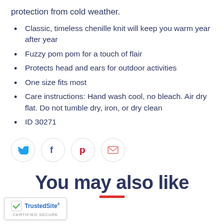protection from cold weather.
Classic, timeless chenille knit will keep you warm year after year
Fuzzy pom pom for a touch of flair
Protects head and ears for outdoor activities
One size fits most
Care instructions: Hand wash cool, no bleach. Air dry flat. Do not tumble dry, iron, or dry clean
ID 30271
[Figure (other): Social sharing buttons: Twitter, Facebook, Pinterest, Email]
You may also like
[Figure (logo): TrustedSite Certified Secure badge]